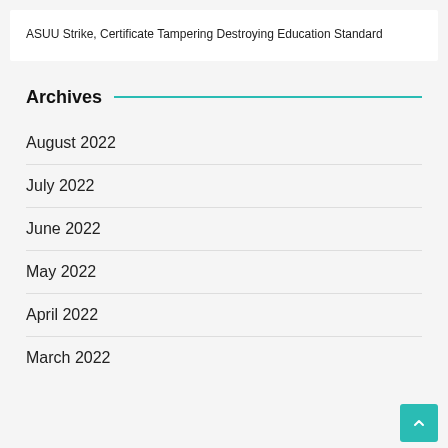ASUU Strike, Certificate Tampering Destroying Education Standard
Archives
August 2022
July 2022
June 2022
May 2022
April 2022
March 2022